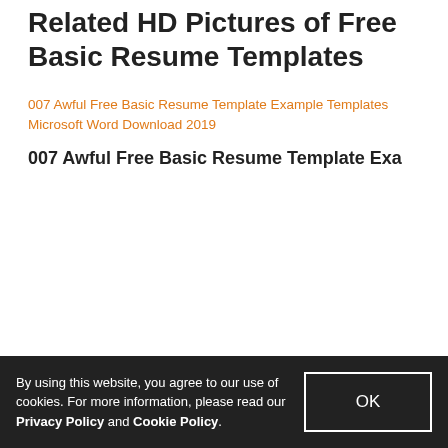Related HD Pictures of Free Basic Resume Templates
[Figure (other): Broken image placeholder with alt text: 007 Awful Free Basic Resume Template Example Templates Microsoft Word Download 2019]
007 Awful Free Basic Resume Template Exa
By using this website, you agree to our use of cookies. For more information, please read our Privacy Policy and Cookie Policy.